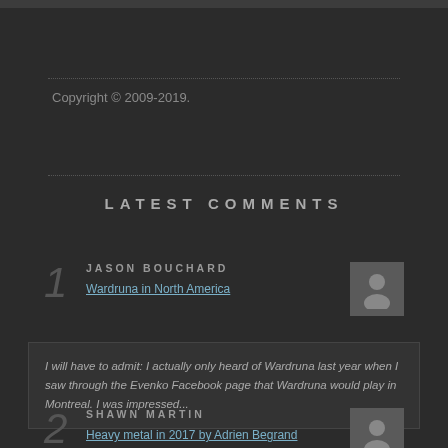Copyright © 2009-2019.
LATEST COMMENTS
JASON BOUCHARD
Wardruna in North America
I will have to admit: I actually only heard of Wardruna last year when I saw through the Evenko Facebook page that Wardruna would play in Montreal. I was impressed...
SHAWN MARTIN
Heavy metal in 2017 by Adrien Begrand